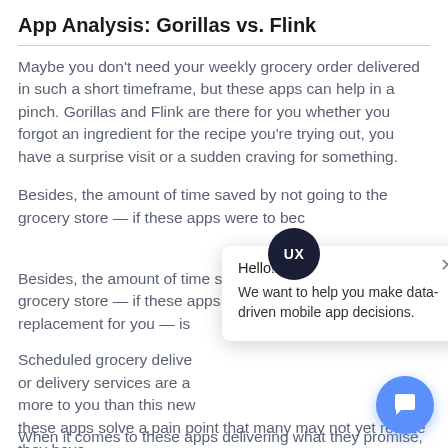App Analysis: Gorillas vs. Flink
Maybe you don't need your weekly grocery order delivered in such a short timeframe, but these apps can help in a pinch. Gorillas and Flink are there for you whether you forgot an ingredient for the recipe you're trying out, you have a surprise visit or a sudden craving for something.
Besides, the amount of time saved by not going to the grocery store — if these apps were to become a replacement for you — is
Scheduled grocery delivery or delivery services are a more to you than this new these apps solve a pain point that many may not yet realize they have.
[Figure (screenshot): Chat widget popup with UX badge circle (dark navy with 'UX' text), a white popup box with close X, greeting 'Hello!' and text 'We want to help you make data-driven mobile app decisions.', and a blue circular chat button at bottom right.]
When it comes to these apps delivering what they promise,